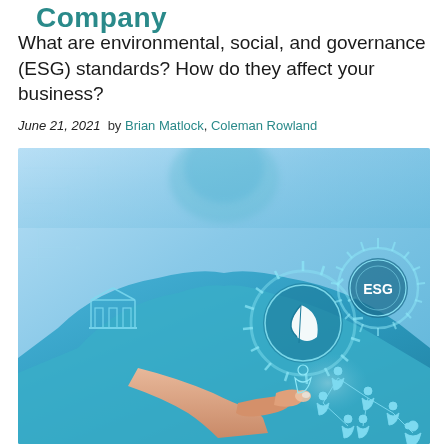Company
What are environmental, social, and governance (ESG) standards? How do they affect your business?
June 21, 2021  by Brian Matlock, Coleman Rowland
[Figure (photo): Person in blue shirt pointing at a digital holographic interface showing ESG gear icons, sustainability leaf symbol, building/institution icon, and network of connected people icons on a blue technology background.]